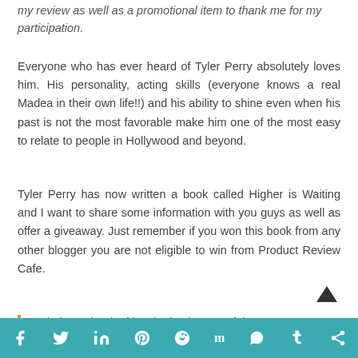my review as well as a promotional item to thank me for my participation.
Everyone who has ever heard of Tyler Perry absolutely loves him. His personality, acting skills (everyone knows a real Madea in their own life!!) and his ability to shine even when his past is not the most favorable make him one of the most easy to relate to people in Hollywood and beyond.
Tyler Perry has now written a book called Higher is Waiting and I want to share some information with you guys as well as offer a giveaway. Just remember if you won this book from any other blogger you are not eligible to win from Product Review Cafe.
An intimate book of inspiration by one of the
social share bar: facebook, twitter, linkedin, pinterest, reddit, mix, whatsapp, tumblr, share